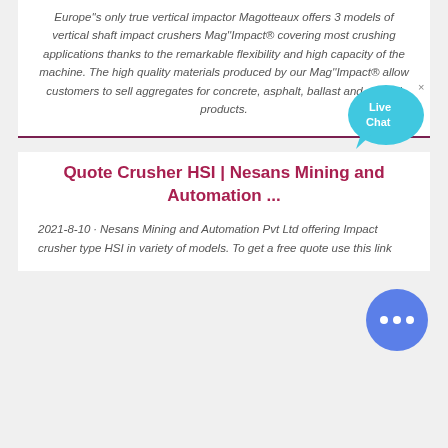Europe''s only true vertical impactor Magotteaux offers 3 models of vertical shaft impact crushers Mag''Impact® covering most crushing applications thanks to the remarkable flexibility and high capacity of the machine. The high quality materials produced by our Mag''Impact® allow customers to sell aggregates for concrete, asphalt, ballast and special products.
[Figure (illustration): Live Chat speech bubble widget with cyan color and 'Live Chat' text, with a close (x) button]
Quote Crusher HSI | Nesans Mining and Automation ...
2021-8-10 · Nesans Mining and Automation Pvt Ltd offering Impact crusher type HSI in variety of models. To get a free quote use this link
[Figure (illustration): Blue circular chat button with three dots (ellipsis) icon]